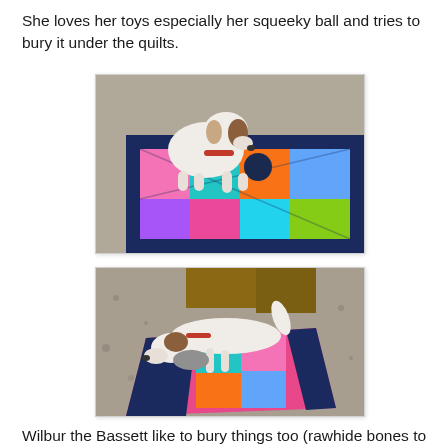She loves her toys especially her squeeky ball and tries to bury it under the quilts.
[Figure (photo): A small white and brown dog standing on a colorful patchwork quilt with navy blue borders, sniffing or playing with a dark ball, photographed outdoors.]
[Figure (photo): The same small white and brown dog lying on a colorful quilt outdoors on a gravel surface, appearing to be burying or nuzzling something under the quilt.]
Wilbur the Bassett like to bury things too (rawhide bones to